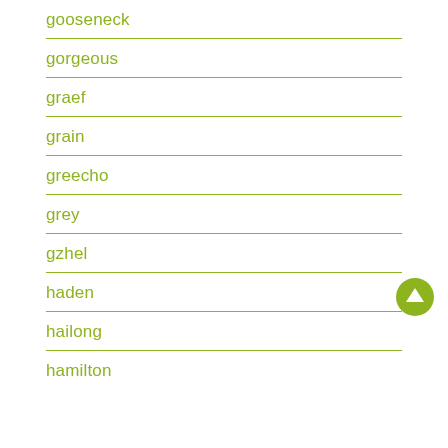gooseneck
gorgeous
graef
grain
greecho
grey
gzhel
haden
hailong
hamilton